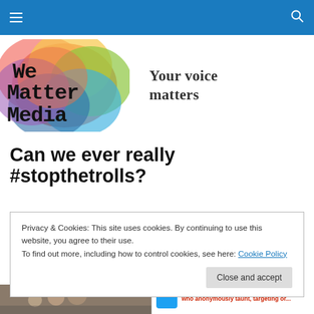Navigation bar with hamburger menu and search icon
[Figure (logo): We Matter Media logo with rainbow-colored overlapping circles/petals background and bold black serif text reading 'We Matter Media']
Your voice matters
Can we ever really #stopthetrolls?
Privacy & Cookies: This site uses cookies. By continuing to use this website, you agree to their use.
To find out more, including how to control cookies, see here: Cookie Policy
Close and accept
[Figure (photo): Bottom strip showing two images: a photo on the left and a Twitter/social media post preview on the right reading '10:30PM HATE-filled Twitter trolls who anonymously taunt, targeting or...']